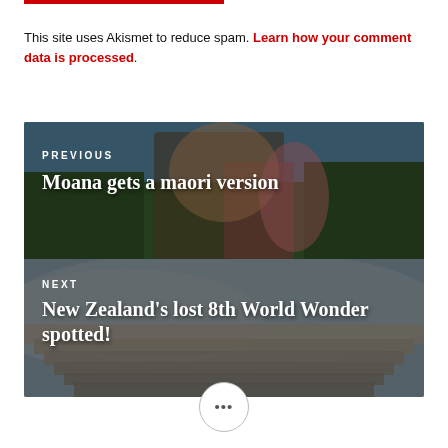This site uses Akismet to reduce spam. Learn how your comment data is processed.
[Figure (illustration): Navigation block with two panels side by side (stacked). Top panel shows PREVIOUS with title 'Moana gets a maori version' over an image of animated characters from Moana. Bottom panel shows NEXT with title 'New Zealand's lost 8th World Wonder spotted!' over a landscape photo of white terraced formations.]
•••